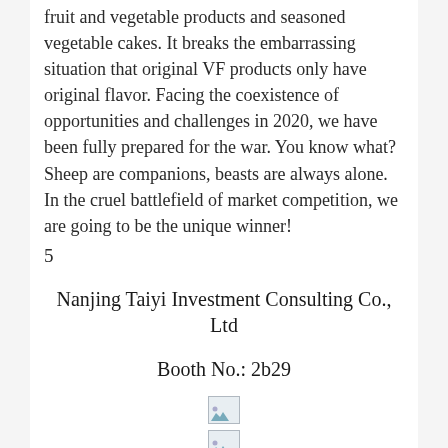fruit and vegetable products and seasoned vegetable cakes. It breaks the embarrassing situation that original VF products only have original flavor. Facing the coexistence of opportunities and challenges in 2020, we have been fully prepared for the war. You know what? Sheep are companions, beasts are always alone. In the cruel battlefield of market competition, we are going to be the unique winner!
5
Nanjing Taiyi Investment Consulting Co., Ltd
Booth No.: 2b29
[Figure (illustration): Three broken/placeholder images stacked vertically in the center of the page]
[Figure (illustration): Second broken/placeholder image]
[Figure (illustration): Third broken/placeholder image]